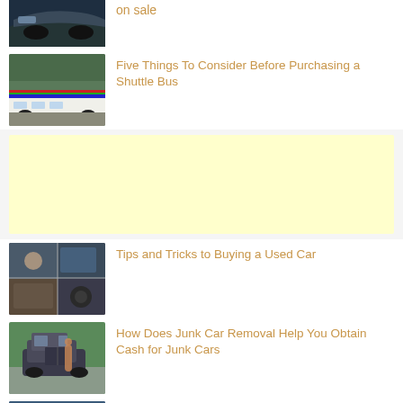[Figure (photo): Partial view of a dark car on sale]
on sale
[Figure (photo): White shuttle bus on road with colorful stripe]
Five Things To Consider Before Purchasing a Shuttle Bus
[Figure (other): Advertisement block (pale yellow background)]
[Figure (photo): Collage of used car buying scenes]
Tips and Tricks to Buying a Used Car
[Figure (photo): Person next to broken down car on road]
How Does Junk Car Removal Help You Obtain Cash for Junk Cars
[Figure (photo): Close-up of car roof/window, partial view]
How to choose the best way to sell your